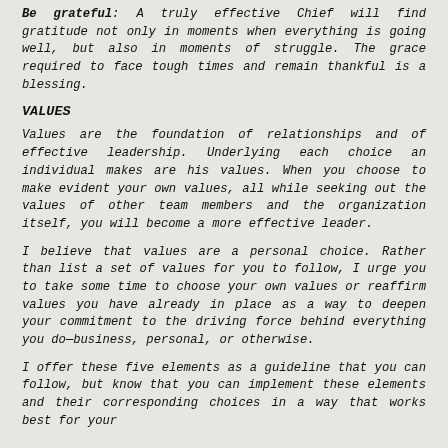Be grateful: A truly effective Chief will find gratitude not only in moments when everything is going well, but also in moments of struggle. The grace required to face tough times and remain thankful is a blessing.
VALUES
Values are the foundation of relationships and of effective leadership. Underlying each choice an individual makes are his values. When you choose to make evident your own values, all while seeking out the values of other team members and the organization itself, you will become a more effective leader.
I believe that values are a personal choice. Rather than list a set of values for you to follow, I urge you to take some time to choose your own values or reaffirm values you have already in place as a way to deepen your commitment to the driving force behind everything you do—business, personal, or otherwise.
I offer these five elements as a guideline that you can follow, but know that you can implement these elements and their corresponding choices in a way that works best for your